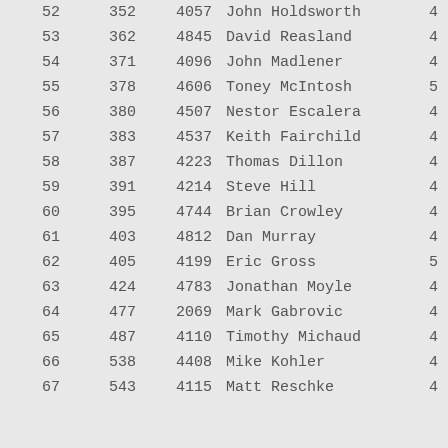| Rank | Num1 | Num2 | Name | Extra |
| --- | --- | --- | --- | --- |
| 52 | 352 | 4057 | John Holdsworth | 4 |
| 53 | 362 | 4845 | David Reasland | 4 |
| 54 | 371 | 4096 | John Madlener | 4 |
| 55 | 378 | 4606 | Toney McIntosh | 5 |
| 56 | 380 | 4507 | Nestor Escalera | 4 |
| 57 | 383 | 4537 | Keith Fairchild | 4 |
| 58 | 387 | 4223 | Thomas Dillon | 4 |
| 59 | 391 | 4214 | Steve Hill | 4 |
| 60 | 395 | 4744 | Brian Crowley | 4 |
| 61 | 403 | 4812 | Dan Murray | 4 |
| 62 | 405 | 4199 | Eric Gross | 5 |
| 63 | 424 | 4783 | Jonathan Moyle | 4 |
| 64 | 477 | 2069 | Mark Gabrovic | 4 |
| 65 | 487 | 4110 | Timothy Michaud | 4 |
| 66 | 538 | 4408 | Mike Kohler | 4 |
| 67 | 543 | 4115 | Matt Reschke | 4 |